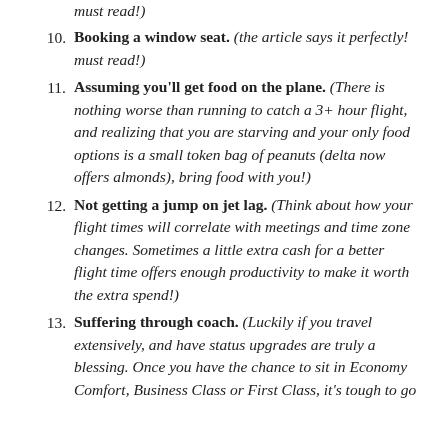(must read!) [continuation from previous item, top of page]
10. Booking a window seat. (the article says it perfectly! must read!)
11. Assuming you'll get food on the plane. (There is nothing worse than running to catch a 3+ hour flight, and realizing that you are starving and your only food options is a small token bag of peanuts (delta now offers almonds), bring food with you!)
12. Not getting a jump on jet lag. (Think about how your flight times will correlate with meetings and time zone changes. Sometimes a little extra cash for a better flight time offers enough productivity to make it worth the extra spend!)
13. Suffering through coach. (Luckily if you travel extensively, and have status upgrades are truly a blessing. Once you have the chance to sit in Economy Comfort, Business Class or First Class, it's tough to go